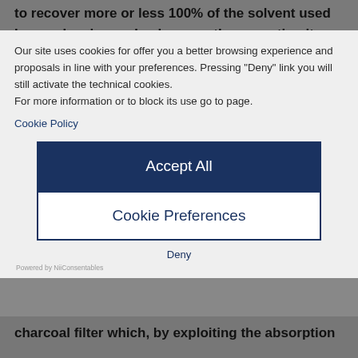to recover more or less 100% of the solvent used by condensing and subsequently separating it.
[Figure (screenshot): Cookie consent overlay dialog with Accept All and Cookie Preferences buttons, cookie policy message, and Deny link]
charcoal filter which, by exploiting the absorption